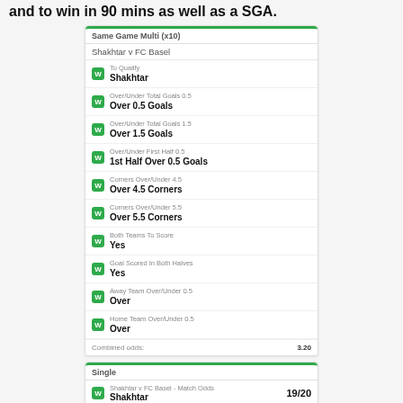and to win in 90 mins as well as a SGA.
| Same Game Multi (x10) | Match | Bet Type | Selection |
| --- | --- | --- | --- |
| Shakhtar v FC Basel |  |  |
| To Qualify | Shakhtar |  |
| Over/Under Total Goals 0.5 | Over 0.5 Goals |  |
| Over/Under Total Goals 1.5 | Over 1.5 Goals |  |
| Over/Under First Half 0.5 | 1st Half Over 0.5 Goals |  |
| Corners Over/Under 4.5 | Over 4.5 Corners |  |
| Corners Over/Under 5.5 | Over 5.5 Corners |  |
| Both Teams To Score | Yes |  |
| Goal Scored In Both Halves | Yes |  |
| Away Team Over/Under 0.5 | Over |  |
| Home Team Over/Under 0.5 | Over |  |
| Combined odds: | 3.20 |  |
| Single | Bet | Odds |
| --- | --- | --- |
| Shakhtar v FC Basel - Match Odds | Shakhtar | 19/20 |